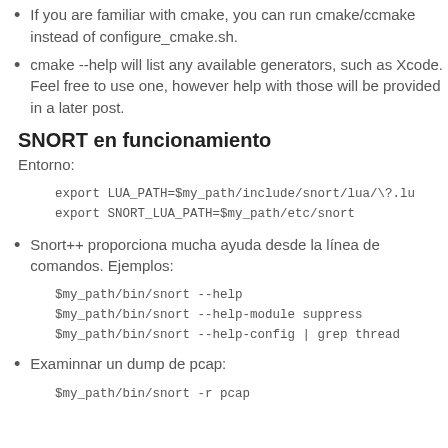If you are familiar with cmake, you can run cmake/ccmake instead of configure_cmake.sh.
cmake --help will list any available generators, such as Xcode. Feel free to use one, however help with those will be provided in a later post.
SNORT en funcionamiento
Entorno:
export LUA_PATH=$my_path/include/snort/lua/\?.lu
export SNORT_LUA_PATH=$my_path/etc/snort
Snort++ proporciona mucha ayuda desde la línea de comandos. Ejemplos:
$my_path/bin/snort --help
$my_path/bin/snort --help-module suppress
$my_path/bin/snort --help-config | grep thread
Examinnar un dump de pcap:
$my_path/bin/snort -r pcap